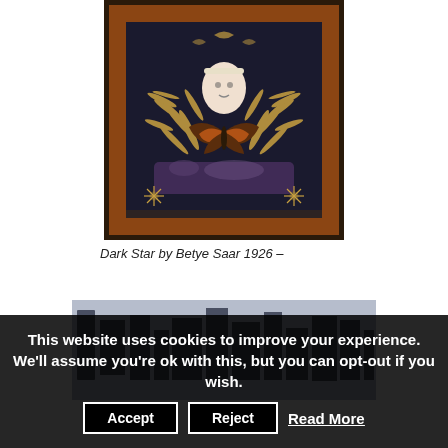[Figure (illustration): Artwork 'Dark Star' by Betye Saar — a framed mixed media piece showing a figure with a butterfly and fern leaves on a dark background with an orange/brown frame border, decorative star motifs in corners.]
Dark Star by Betye Saar 1926 –
[Figure (photo): A wide horizontal relief sculpture or artwork showing geometric and architectural forms in dark blue-gray tones — appears to be an abstract cityscape or assemblage relief.]
This website uses cookies to improve your experience. We'll assume you're ok with this, but you can opt-out if you wish.
Accept   Reject   Read More